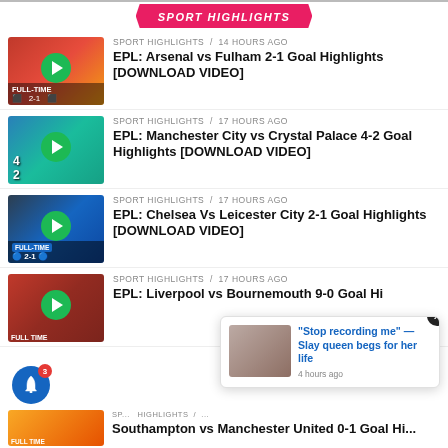SPORT HIGHLIGHTS
SPORT HIGHLIGHTS / 14 hours ago
EPL: Arsenal vs Fulham 2-1 Goal Highlights [DOWNLOAD VIDEO]
SPORT HIGHLIGHTS / 17 hours ago
EPL: Manchester City vs Crystal Palace 4-2 Goal Highlights [DOWNLOAD VIDEO]
SPORT HIGHLIGHTS / 17 hours ago
EPL: Chelsea Vs Leicester City 2-1 Goal Highlights [DOWNLOAD VIDEO]
SPORT HIGHLIGHTS / 17 hours ago
EPL: Liverpool vs Bournemouth 9-0 Goal Highlights [DOWNLOAD VIDEO]
[Figure (screenshot): Popup notification card: image of person lying down, text 'Stop recording me' — Slay queen begs for her life, 4 hours ago]
SPORT HIGHLIGHTS / ...
Southampton vs Manchester United 0-1 Goal Highlights [DOWNLOAD VIDEO]